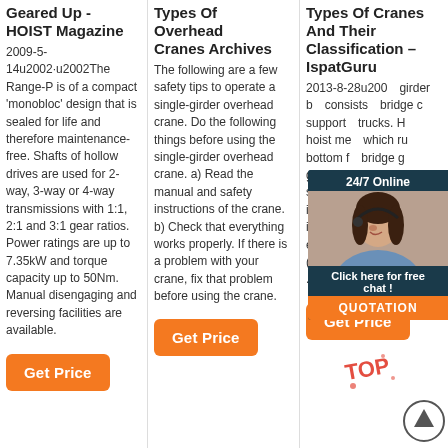Geared Up - HOIST Magazine
2009-5-14u2002·u2002The Range-P is of a compact 'monobloc' design that is sealed for life and therefore maintenance-free. Shafts of hollow drives are used for 2-way, 3-way or 4-way transmissions with 1:1, 2:1 and 3:1 gear ratios. Power ratings are up to 7.35kW and torque capacity up to 50Nm. Manual disengaging and reversing facilities are available.
Get Price
Types Of Overhead Cranes Archives
The following are a few safety tips to operate a single-girder overhead crane. Do the following things before using the single-girder overhead crane. a) Read the manual and safety instructions of the crane. b) Check that everything works properly. If there is a problem with your crane, fix that problem before using the crane.
Get Price
Types Of Cranes And Their Classification – IspatGuru
2013-8-28u200...girder b... consists... bridge c... support... trucks. H... hoist me... which ru... bottom f... bridge g... girder cranes cost less since (i) only one girder is needed, (ii) the trolley is simpler, (iii) freight expenses are reduced, (iv) installation is r, and (v ...
[Figure (photo): Customer support agent with headset, 24/7 Online overlay with Click here for free chat and QUOTATION button]